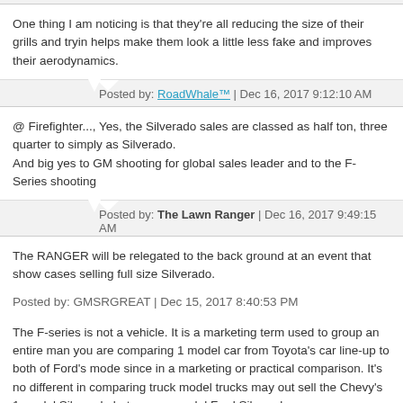One thing I am noticing is that they're all reducing the size of their grills and trying helps make them look a little less fake and improves their aerodynamics.
Posted by: RoadWhale™ | Dec 16, 2017 9:12:10 AM
@ Firefighter..., Yes, the Silverado sales are classed as half ton, three quarter to simply as Silverado.
And big yes to GM shooting for global sales leader and to the F-Series shooting
Posted by: The Lawn Ranger | Dec 16, 2017 9:49:15 AM
The RANGER will be relegated to the back ground at an event that show cases selling full size Silverado.
Posted by: GMSRGREAT | Dec 15, 2017 8:40:53 PM
The F-series is not a vehicle. It is a marketing term used to group an entire man you are comparing 1 model car from Toyota's car line-up to both of Ford's mode since in a marketing or practical comparison. It's no different in comparing truck model trucks may out sell the Chevy's 1 model Silverado but no one model Ford Silverado